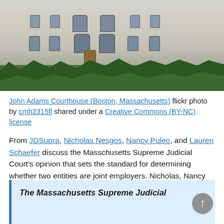[Figure (photo): Photograph of John Adams Courthouse in Boston, Massachusetts — a large classical stone building with arched windows and trees in the foreground]
John Adams Courthouse (Boston, Massachusetts) flickr photo by cmh2315fl shared under a Creative Commons (BY-NC) license
From JDSupra, Nicholas Nesgos, Nancy Puleo, and Lauren Schaefer discuss the Masschusetts Supreme Judicial Court's opinion that sets the standard for determining whether two entities are joint employers. Nicholas, Nancy and Lauren write:
The Massachusetts Supreme Judicial